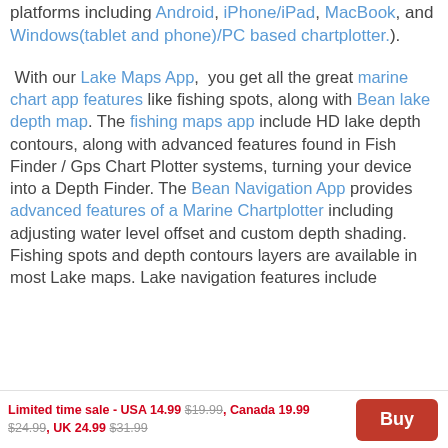platforms including Android, iPhone/iPad, MacBook, and Windows(tablet and phone)/PC based chartplotter.).
With our Lake Maps App, you get all the great marine chart app features like fishing spots, along with Bean lake depth map. The fishing maps app include HD lake depth contours, along with advanced features found in Fish Finder / Gps Chart Plotter systems, turning your device into a Depth Finder. The Bean Navigation App provides advanced features of a Marine Chartplotter including adjusting water level offset and custom depth shading. Fishing spots and depth contours layers are available in most Lake maps. Lake navigation features include
Limited time sale - USA 14.99 $19.99, Canada 19.99 $24.99, UK 24.99 $31.99